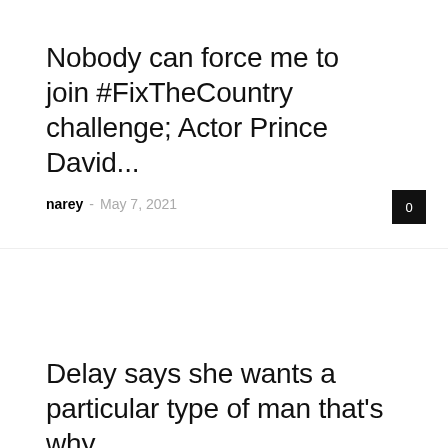Nobody can force me to join #FixTheCountry challenge; Actor Prince David...
narey – May 7, 2021
Delay says she wants a particular type of man that's why...